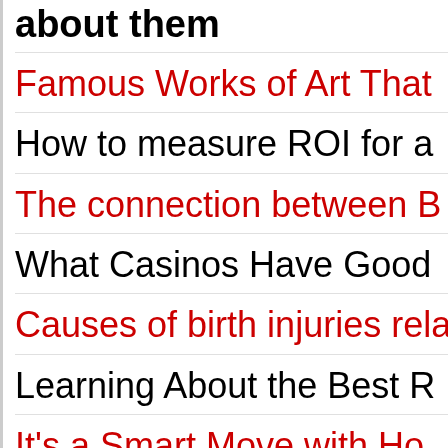... about them
Famous Works of Art That...
How to measure ROI for a...
The connection between B...
What Casinos Have Good...
Causes of birth injuries rela...
Learning About the Best R...
It's a Smart Move with Ho...